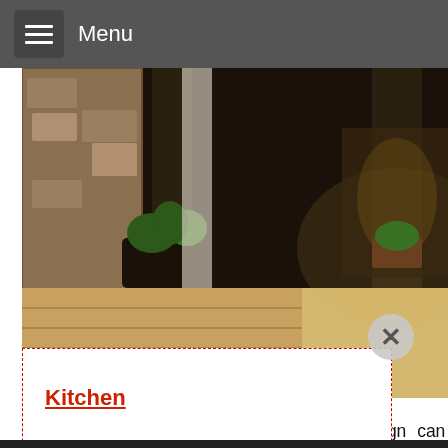Menu
[Figure (photo): Interior hallway photo of a luxury home with stone walls, plants, and wooden flooring at night]
Kitchen
Bedroom
Furniture
ign can be radically different and amily: be restrained and laconic or ldition, if the financial capabilities everyone to meet the planned m.
e history of building a two-family